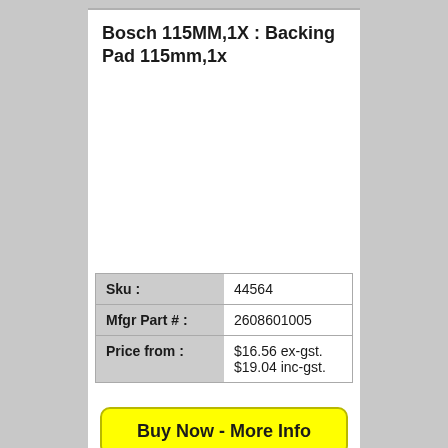Bosch 115MM,1X : Backing Pad 115mm,1x
|  |  |
| --- | --- |
| Sku : | 44564 |
| Mfgr Part # : | 2608601005 |
| Price from : | $16.56 ex-gst.
$19.04 inc-gst. |
Buy Now - More Info